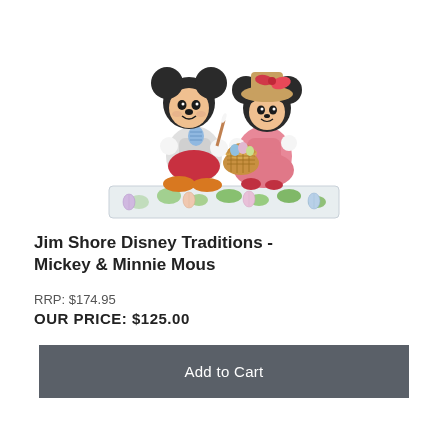[Figure (photo): Jim Shore Disney Traditions figurine of Mickey Mouse and Minnie Mouse sitting together, Mickey holding a painted Easter egg, Minnie holding a basket of Easter eggs, on a decorative base with Easter motifs.]
Jim Shore Disney Traditions - Mickey & Minnie Mous
RRP: $174.95
OUR PRICE: $125.00
Add to Cart